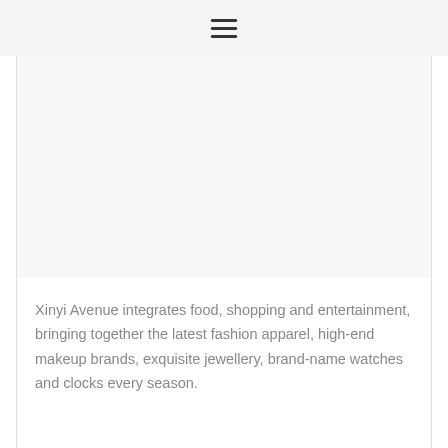≡
[Figure (other): White/light gray blank image area placeholder]
Xinyi Avenue integrates food, shopping and entertainment, bringing together the latest fashion apparel, high-end makeup brands, exquisite jewellery, brand-name watches and clocks every season.